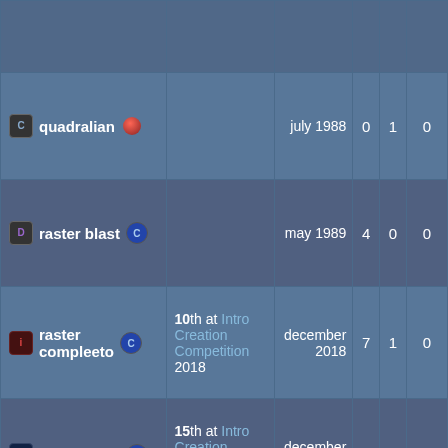| Name | Competition | Date | # | # | # |
| --- | --- | --- | --- | --- | --- |
| quadralian |  | july 1988 | 0 | 1 | 0 |
| raster blast |  | may 1989 | 4 | 0 | 0 |
| raster compleeto | 10th at Intro Creation Competition 2018 | december 2018 | 7 | 1 | 0 |
| rasterblues | 15th at Intro Creation Competition 2018 | december 2018 | 3 | 1 | 0 |
| red october |  | 1991 | 3 | 1 | 0 |
| red storm |  | july 1992 | 14 | 11 |  |